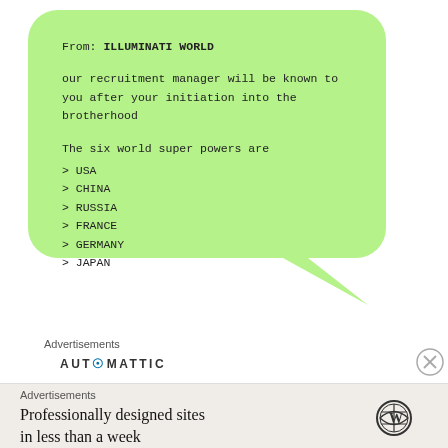[Figure (illustration): Green speech bubble with rounded corners and a tail pointing to the lower right, containing text about Illuminati World recruitment message.]
From: ILLUMINATI WORLD

our recruitment manager will be known to you after your initiation into the brotherhood

The six world super powers are
> USA
> CHINA
> RUSSIA
> FRANCE
> GERMANY
> JAPAN
Advertisements
AUT@MATTIC
Advertisements
Professionally designed sites in less than a week